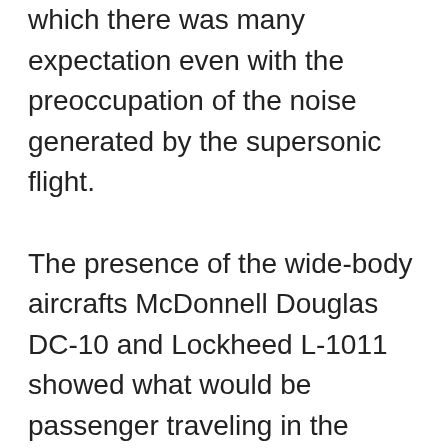which there was many expectation even with the preoccupation of the noise generated by the supersonic flight. The presence of the wide-body aircrafts McDonnell Douglas DC-10 and Lockheed L-1011 showed what would be passenger traveling in the coming years. Europe was not left behind, presenting a project called Airbus A300. Other aircraft on show and highlighted by his dimensions was the Lockheed C-5 Galaxy. If in those years those widebody representatives attracted quantities of visitors, today they are part of the past